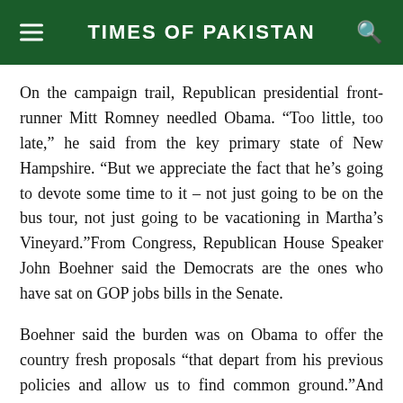TIMES OF PAKISTAN
On the campaign trail, Republican presidential front-runner Mitt Romney needled Obama. “Too little, too late,” he said from the key primary state of New Hampshire. “But we appreciate the fact that he’s going to devote some time to it – not just going to be on the bus tour, not just going to be vacationing in Martha’s Vineyard.”From Congress, Republican House Speaker John Boehner said the Democrats are the ones who have sat on GOP jobs bills in the Senate.
Boehner said the burden was on Obama to offer the country fresh proposals “that depart from his previous policies and allow us to find common ground.”And from the liberal flank of Obama’s own party, the advocacy group MoveOn.org asked its members to phone the White House and keep